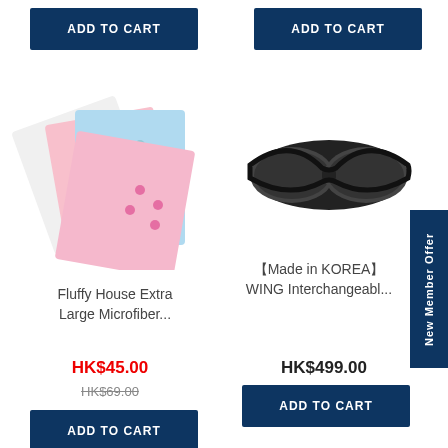ADD TO CART
ADD TO CART
[Figure (photo): Four colorful microfiber cloths with patterns fanned out]
[Figure (photo): Black wraparound sunglasses]
Fluffy House Extra Large Microfiber...
【Made in KOREA】 WING Interchangeabl...
HK$45.00
HK$69.00
HK$499.00
ADD TO CART
ADD TO CART
New Member Offer